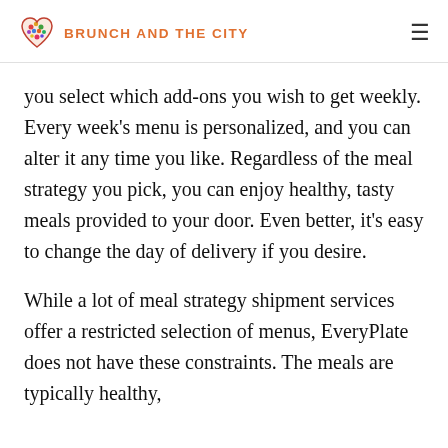BRUNCH AND THE CITY
you select which add-ons you wish to get weekly. Every week's menu is personalized, and you can alter it any time you like. Regardless of the meal strategy you pick, you can enjoy healthy, tasty meals provided to your door. Even better, it's easy to change the day of delivery if you desire.
While a lot of meal strategy shipment services offer a restricted selection of menus, EveryPlate does not have these constraints. The meals are typically healthy,